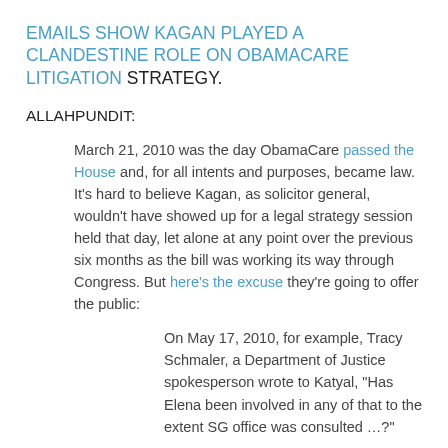EMAILS SHOW KAGAN PLAYED A CLANDESTINE ROLE ON OBAMACARE LITIGATION STRATEGY.
ALLAHPUNDIT:
March 21, 2010 was the day ObamaCare passed the House and, for all intents and purposes, became law. It’s hard to believe Kagan, as solicitor general, wouldn’t have showed up for a legal strategy session held that day, let alone at any point over the previous six months as the bill was working its way through Congress. But here’s the excuse they’re going to offer the public:
On May 17, 2010, for example, Tracy Schmaler, a Department of Justice spokesperson wrote to Katyal, “Has Elena been involved in any of that to the extent SG office was consulted …?"